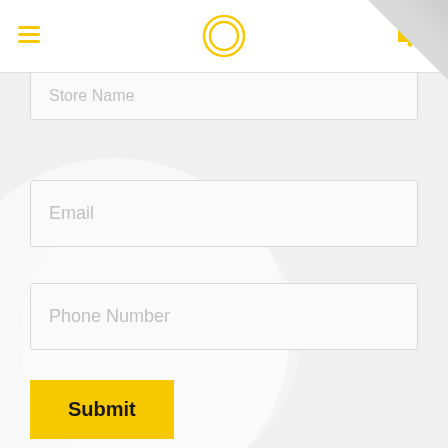[Figure (logo): Circular logo with two concentric yellow rings, centered in the header]
Store Name
Email
Phone Number
Submit